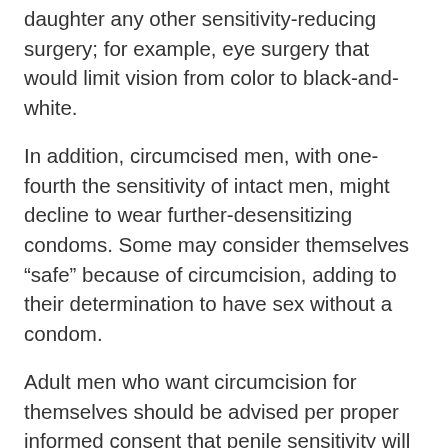daughter any other sensitivity-reducing surgery; for example, eye surgery that would limit vision from color to black-and-white.
In addition, circumcised men, with one-fourth the sensitivity of intact men, might decline to wear further-desensitizing condoms. Some may consider themselves “safe” because of circumcision, adding to their determination to have sex without a condom.
Adult men who want circumcision for themselves should be advised per proper informed consent that penile sensitivity will be reduced on average